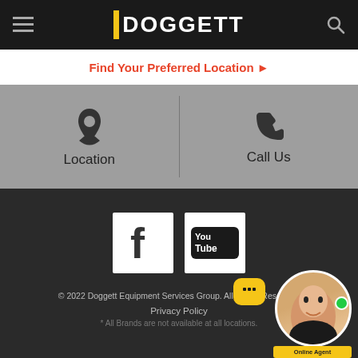DOGGETT
Find Your Preferred Location ▶
[Figure (infographic): Two-column icon section with a map pin icon labeled 'Location' on the left and a phone icon labeled 'Call Us' on the right, separated by a vertical divider, on a gray background]
[Figure (infographic): Dark background footer section with Facebook and YouTube social media icon boxes, copyright text, Privacy Policy link, brand disclaimer, and a chat agent avatar with Online Agent label]
© 2022 Doggett Equipment Services Group. All Rights Reserved.
Privacy Policy
* All Brands are not available at all locations.
LIVE CHAT  TEXT US